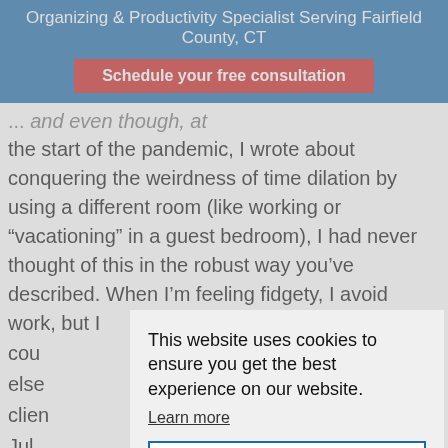Organizing & Productivity Specialist Serving Fairfield County, CT
Schedule your free consultation
... the start of the pandemic, I wrote about conquering the weirdness of time dilation by using a different room (like working or “vacationing” in a guest bedroom), I had never thought of this in the robust way you’ve described. When I’m feeling fidgety, I avoid work, but I cou... else... clien...
This website uses cookies to ensure you get the best experience on our website.
Learn more
Got it
Jul
Or
Reply